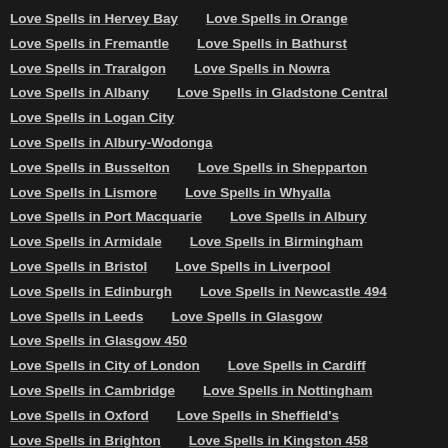Love Spells in Hervey Bay
Love Spells in Orange
Love Spells in Fremantle
Love Spells in Bathurst
Love Spells in Traralgon
Love Spells in Nowra
Love Spells in Albany
Love Spells in Gladstone Central
Love Spells in Logan City
Love Spells in Albury-Wodonga
Love Spells in Busselton
Love Spells in Shepparton
Love Spells in Lismore
Love Spells in Whyalla
Love Spells in Port Macquarie
Love Spells in Albury
Love Spells in Armidale
Love Spells in Birmingham
Love Spells in Bristol
Love Spells in Liverpool
Love Spells in Edinburgh
Love Spells in Newcastle 494
Love Spells in Leeds
Love Spells in Glasgow
Love Spells in Glasgow 450
Love Spells in City of London
Love Spells in Cardiff
Love Spells in Cambridge
Love Spells in Nottingham
Love Spells in Oxford
Love Spells in Sheffield's
Love Spells in Brighton
Love Spells in Kingston 458
Love Spells in York
Love Spells in Coventry